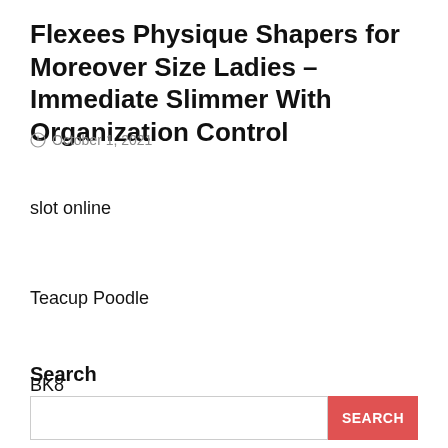Flexees Physique Shapers for Moreover Size Ladies – Immediate Slimmer With Organization Control
October 1, 2021
slot online
Teacup Poodle
BK8
Search